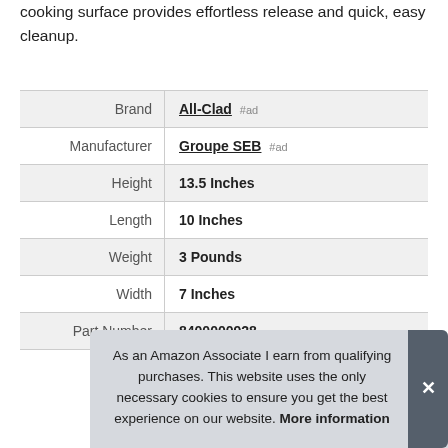cooking surface provides effortless release and quick, easy cleanup.
| Brand | All-Clad #ad |
| Manufacturer | Groupe SEB #ad |
| Height | 13.5 Inches |
| Length | 10 Inches |
| Weight | 3 Pounds |
| Width | 7 Inches |
| Part Number | 8400000928 |
As an Amazon Associate I earn from qualifying purchases. This website uses the only necessary cookies to ensure you get the best experience on our website. More information